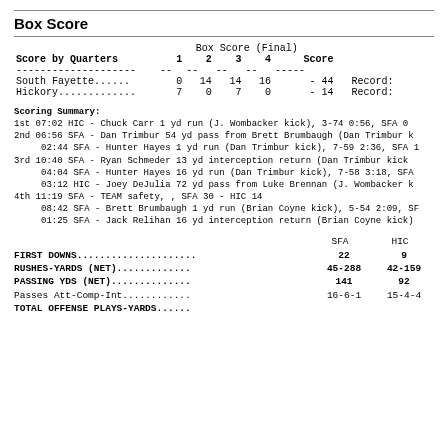Box Score
| Score by Quarters | 1 | 2 | 3 | 4 | Score |  |
| --- | --- | --- | --- | --- | --- | --- |
| South Fayette...... | 0 | 14 | 14 | 16 | - 44 | Record: |
| Hickory............. | 7 | 0 | 7 | 0 | - 14 | Record: |
Scoring Summary:
1st 07:02 HIC - Chuck Carr 1 yd run (J. Wombacker kick), 3-74 0:56, SFA 0
2nd 06:56 SFA - Dan Trimbur 54 yd pass from Brett Brumbaugh (Dan Trimbur k
     02:44 SFA - Hunter Hayes 1 yd run (Dan Trimbur kick), 7-59 2:36, SFA 1
3rd 10:40 SFA - Ryan Schmeder 13 yd interception return (Dan Trimbur kick
     04:04 SFA - Hunter Hayes 16 yd run (Dan Trimbur kick), 7-58 3:18, SFA
     03:12 HIC - Joey DeJulia 72 yd pass from Luke Brennan (J. Wombacker k
4th 11:19 SFA - TEAM safety, , SFA 30 - HIC 14
     08:42 SFA - Brett Brumbaugh 1 yd run (Brian Coyne kick), 5-54 2:09, SF
     01:25 SFA - Jack Relihan 16 yd interception return (Brian Coyne kick)
|  | SFA | HIC |
| --- | --- | --- |
| FIRST DOWNS..................... | 22 | 9 |
| RUSHES-YARDS (NET)............. | 45-288 | 42-159 |
| PASSING YDS (NET).............. | 141 | 92 |
| Passes Att-Comp-Int............ | 16-6-1 | 15-4-4 |
| TOTAL OFFENSE PLAYS-YARDS...... |  |  |